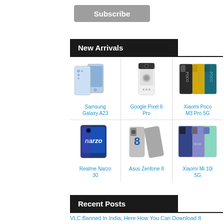[Figure (other): Subscribe button - grey rounded rectangle with white bold text]
New Arrivals
[Figure (other): Product grid of 6 smartphones: Samsung Galaxy A23, Google Pixel 6 Pro, Xiaomi Poco M3 Pro 5G, Realme Narzo 30, Asus Zenfone 8, Xiaomi Mi 10i 5G]
Recent Posts
VLC Banned In India, Here How You Can Download It